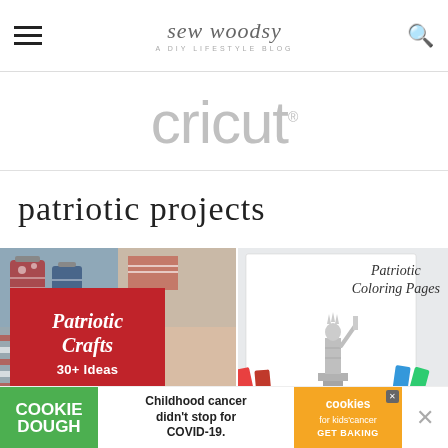sew woodsy — A DIY LIFESTYLE BLOG
[Figure (logo): Cricut brand logo in light gray, large lowercase sans-serif font with registered trademark symbol]
patriotic projects
[Figure (photo): Left image: collage of patriotic crafts including mason jars with stars and stripes, child's hand near American flag paper. Red overlay card reads 'Patriotic Crafts 30+ Ideas']
[Figure (photo): Right image: White paper with handwritten text 'Patriotic Coloring Pages' and Statue of Liberty illustration, with crayons nearby]
[Figure (infographic): Bottom ad banner: Cookie Dough green logo, text 'Childhood cancer didn't stop for COVID-19.', orange Cookies for Kids Cancer logo with GET BAKING text, and close X button]